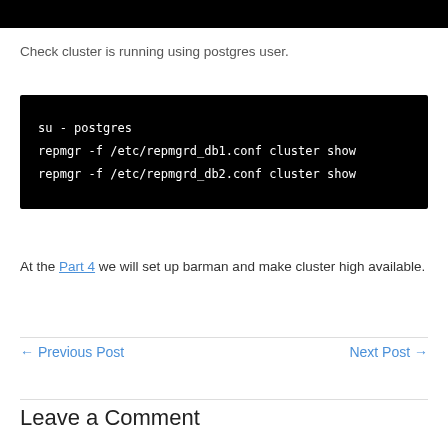[Figure (screenshot): Black bar at top of page, partial screenshot of terminal/code image]
Check cluster is running using postgres user.
[Figure (screenshot): Black terminal code block showing: su - postgres, repmgr -f /etc/repmgrd_db1.conf cluster show, repmgr -f /etc/repmgrd_db2.conf cluster show]
At the Part 4 we will set up barman and make cluster high available.
← Previous Post    Next Post →
Leave a Comment